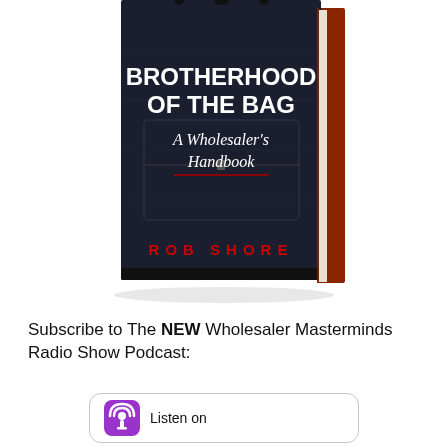[Figure (photo): Book cover of 'Brotherhood of the Bag: A Wholesaler's Handbook' by Rob Shore. Shows a black leather bag/briefcase on the cover with white and red text. The book is shown as a 3D angled hardcover.]
Subscribe to The NEW Wholesaler Masterminds Radio Show Podcast:
[Figure (logo): Apple Podcasts badge showing purple podcast icon and 'Listen on' text with rounded rectangle border.]